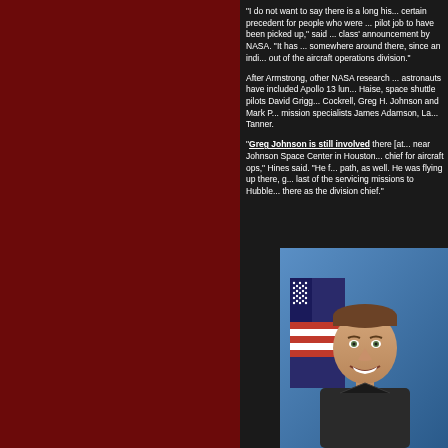"I do not want to say there is a long history, but a certain precedent for people who were in a research pilot job to have been picked up," said Hines after his class' announcement by NASA. "It has been 50 years, somewhere around there, since an individual coming out of the aircraft operations division."
After Armstrong, other NASA research pilot astronauts have included Apollo 13 lunar module pilot Fred Haise, space shuttle pilots David Griggs and Ken Cockrell, Greg H. Johnson and Mark Polansky, and mission specialists James Adamson, Larry Connor and Joseph Tanner.
"Greg Johnson is still involved there [at Ellington near Johnson Space Center in Houston], as the division chief for aircraft ops," Hines said. "He followed that path, as well. He was flying up there, got on one of the last of the servicing missions to Hubble, and then went there as the division chief."
[Figure (photo): Official NASA astronaut portrait photo of a smiling man in a dark flight suit, with an American flag in the background and a blue gradient backdrop.]